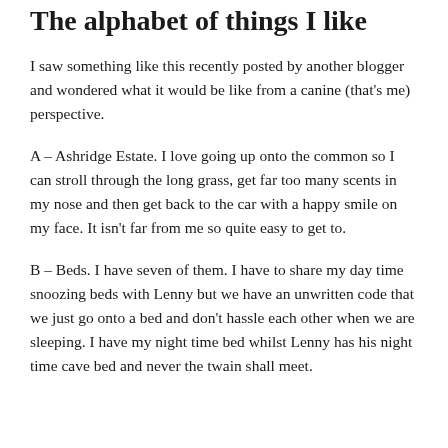The alphabet of things I like
I saw something like this recently posted by another blogger and wondered what it would be like from a canine (that's me) perspective.
A – Ashridge Estate. I love going up onto the common so I can stroll through the long grass, get far too many scents in my nose and then get back to the car with a happy smile on my face. It isn't far from me so quite easy to get to.
B – Beds. I have seven of them. I have to share my day time snoozing beds with Lenny but we have an unwritten code that we just go onto a bed and don't hassle each other when we are sleeping. I have my night time bed whilst Lenny has his night time cave bed and never the twain shall meet.